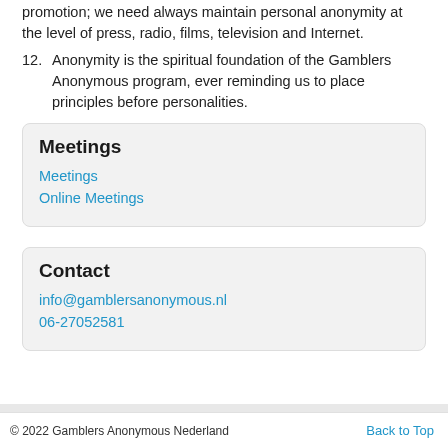promotion; we need always maintain personal anonymity at the level of press, radio, films, television and Internet.
12. Anonymity is the spiritual foundation of the Gamblers Anonymous program, ever reminding us to place principles before personalities.
Meetings
Meetings
Online Meetings
Contact
info@gamblersanonymous.nl
06-27052581
© 2022 Gamblers Anonymous Nederland    Back to Top